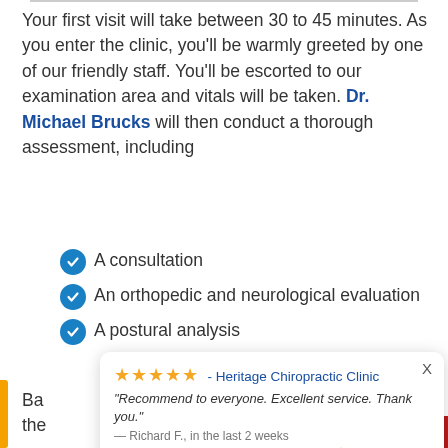Your first visit will take between 30 to 45 minutes. As you enter the clinic, you'll be warmly greeted by one of our friendly staff. You'll be escorted to our examination area and vitals will be taken. Dr. Michael Brucks will then conduct a thorough assessment, including
A consultation
An orthopedic and neurological evaluation
A postural analysis
[Figure (screenshot): A popup review card showing 5 gold stars, Heritage Chiropractic Clinic, a review quote 'Recommend to everyone. Excellent service. Thank you.' attributed to Richard F., in the last 2 weeks, with a 'by Review Wave' footer and a close X button.]
Ba... the...